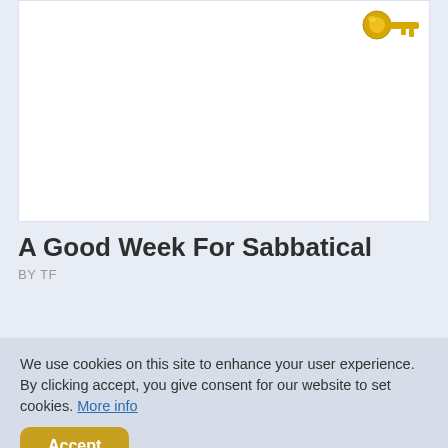[Figure (illustration): White card/image area with a gold key icon in the upper right corner]
A Good Week For Sabbatical
BY TF
We use cookies on this site to enhance your user experience. By clicking accept, you give consent for our website to set cookies. More info
Accept